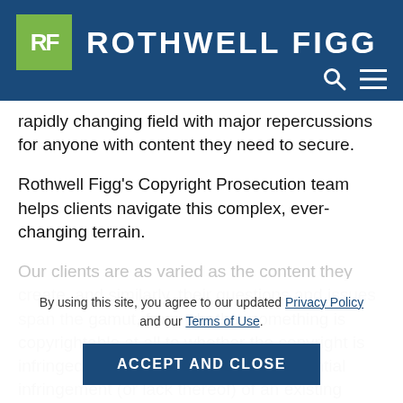ROTHWELL FIGG
rapidly changing field with major repercussions for anyone with content they need to secure.
Rothwell Figg's Copyright Prosecution team helps clients navigate this complex, ever-changing terrain.
Our clients are as varied as the content they create, and similarly, their questions and issues span the gamut, from whether something is copyrightable at all to whether the copyright is infringed if they lack a copyright to potential infringement (or lack thereof) of an existing copyright.
By using this site, you agree to our updated Privacy Policy and our Terms of Use.